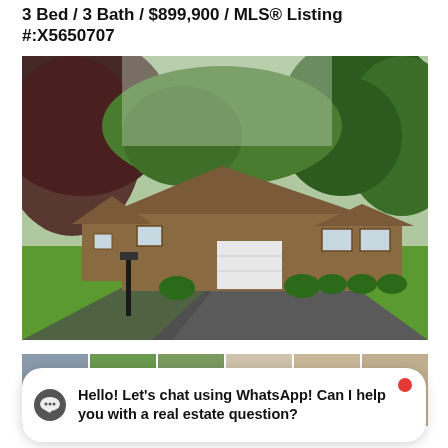3 Bed / 3 Bath / $899,900 / MLS® Listing #:X5650707
[Figure (photo): Exterior photo of a ranch-style home with brown wood siding, white garage door, large paved driveway, lush green lawn, and surrounded by tall trees including a prominent dark red/maroon tree on the left.]
[Figure (photo): Strip of thumbnail images showing multiple views of the property including exterior and interior shots.]
Hello! Let's chat using WhatsApp! Can I help you with a real estate question?